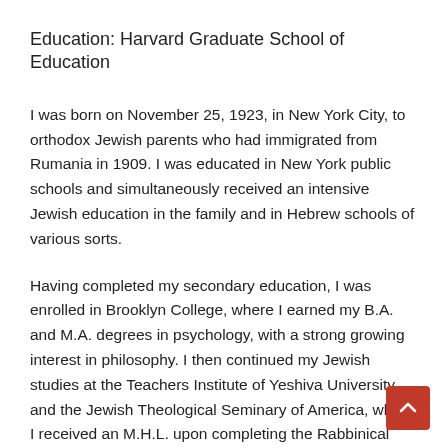Education: Harvard Graduate School of Education
I was born on November 25, 1923, in New York City, to orthodox Jewish parents who had immigrated from Rumania in 1909. I was educated in New York public schools and simultaneously received an intensive Jewish education in the family and in Hebrew schools of various sorts.
Having completed my secondary education, I was enrolled in Brooklyn College, where I earned my B.A. and M.A. degrees in psychology, with a strong growing interest in philosophy. I then continued my Jewish studies at the Teachers Institute of Yeshiva University and the Jewish Theological Seminary of America, where I received an M.H.L. upon completing the Rabbinical School program there, and a D.H.L. (hon.) thereafter.